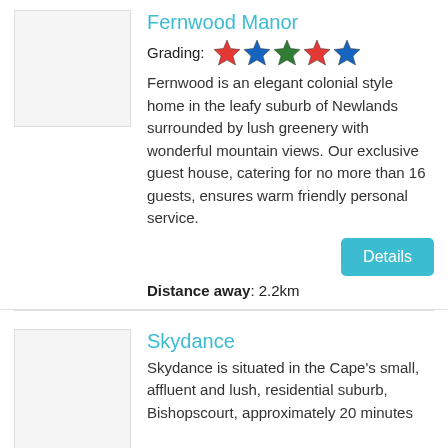Fernwood Manor
Grading: ★★★★★
Fernwood is an elegant colonial style home in the leafy suburb of Newlands surrounded by lush greenery with wonderful mountain views. Our exclusive guest house, catering for no more than 16 guests, ensures warm friendly personal service.
Distance away: 2.2km
Skydance
Skydance is situated in the Cape's small, affluent and lush, residential suburb, Bishopscourt, approximately 20 minutes